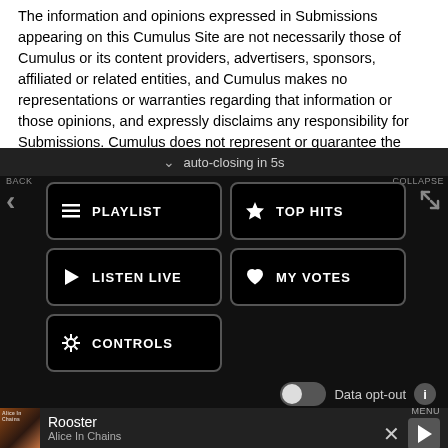The information and opinions expressed in Submissions appearing on this Cumulus Site are not necessarily those of Cumulus or its content providers, advertisers, sponsors, affiliated or related entities, and Cumulus makes no representations or warranties regarding that information or those opinions, and expressly disclaims any responsibility for Submissions. Cumulus does not represent or guarantee the truthfulness, accuracy, or reliability of any Submissions...
auto-closing in 5s
[Figure (screenshot): Navigation menu with buttons: PLAYLIST, TOP HITS, LISTEN LIVE, MY VOTES, CONTROLS, plus BACK and COLLAPSE controls]
Data opt-out
Rooster
Alice In Chains